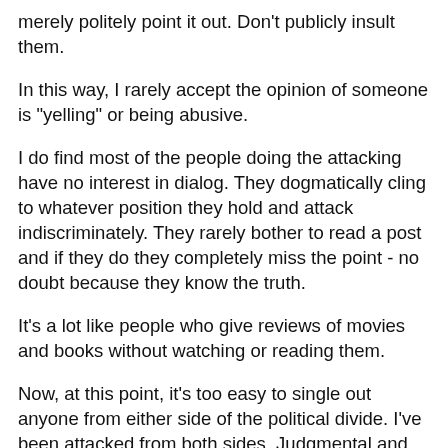merely politely point it out. Don't publicly insult them.
In this way, I rarely accept the opinion of someone is "yelling" or being abusive.
I do find most of the people doing the attacking have no interest in dialog. They dogmatically cling to whatever position they hold and attack indiscriminately. They rarely bother to read a post and if they do they completely miss the point - no doubt because they know the truth.
It's a lot like people who give reviews of movies and books without watching or reading them.
Now, at this point, it's too easy to single out anyone from either side of the political divide. I've been attacked from both sides. Judgmental and ignorant behavior comes from all angles. From the left, I recall a time (at least three years ago) when some anonymous comment asserted I get paid by Exxon (for merely posting a link to an article that questioned global warming) and another person wrote a nasty note telling me to take my guns and go back to the backwoods for